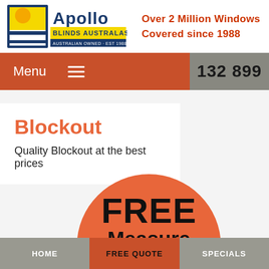[Figure (logo): Apollo Blinds Australasia logo with yellow and navy blue square icon and text 'Apollo BLINDS AUSTRALASIA AUSTRALIAN OWNED · EST 1988']
Over 2 Million Windows Covered since 1988
Menu  132 899
Blockout
Quality Blockout at the best prices
[Figure (infographic): Large orange circle with text 'FREE Measure' partially visible]
HOME   FREE QUOTE   SPECIALS